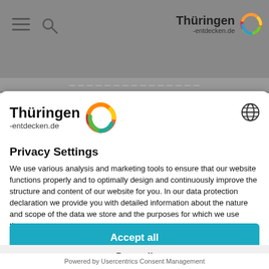[Figure (screenshot): Thüringen-entdecken.de website header with hamburger menu, search icon, and logo on grey background]
[Figure (logo): Thüringen-entdecken.de logo with colorful swirl icon]
[Figure (other): Globe/language selector icon]
Privacy Settings
We use various analysis and marketing tools to ensure that our website functions properly and to optimally design and continuously improve the structure and content of our website for you. In our data protection declaration we provide you with detailed information about the nature and scope of the data we store and the purposes for which we use them.
Accept all
Deny all
Powered by Usercentrics Consent Management